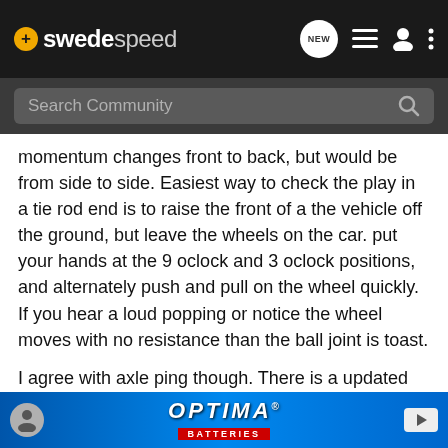swedespeed — navigation bar with logo, search, NEW button, list icon, person icon, more icon
momentum changes front to back, but would be from side to side. Easiest way to check the play in a tie rod end is to raise the front of a the vehicle off the ground, but leave the wheels on the car. put your hands at the 9 oclock and 3 oclock positions, and alternately push and pull on the wheel quickly. If you hear a loud popping or notice the wheel moves with no resistance than the ball joint is toast.
I agree with axle ping though. There is a updated "washer" to put between the axle and hub bearing, plus new bolts with rubber cushions on them to help quiet the noise. Also, volvo suggests using their "metal glue" on the splines of the axles to help keep them in place to completely stop the ping. I disagree with last... e removed... ue does
[Figure (advertisement): Optima Batteries advertisement banner in blue gradient with profile icon on left and play button on right]